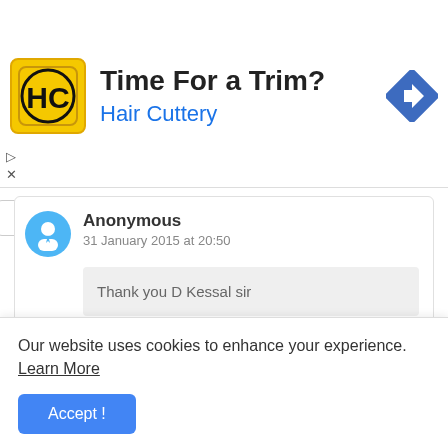[Figure (logo): Hair Cuttery advertisement banner with HC logo, 'Time For a Trim?' headline, 'Hair Cuttery' subtext in blue, and a navigation arrow icon]
Anonymous
31 January 2015 at 20:50
Thank you D Kessal sir
Delete
Anonymous
Our website uses cookies to enhance your experience. Learn More
Accept !